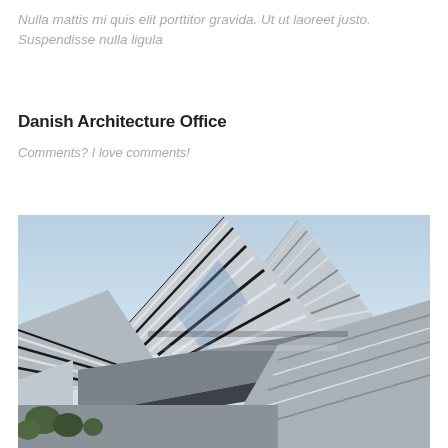Nulla mattis mi quis elit porttitor gravida. Ut ut laoreet justo. Suspendisse nulla ligula
Danish Architecture Office
Comments? I love comments!
[Figure (photo): Exterior photograph of a modern angular building with pyramid-shaped metallic roof structures featuring alternating silver and dark stripes, set against a light blue sky with trees visible at the bottom.]